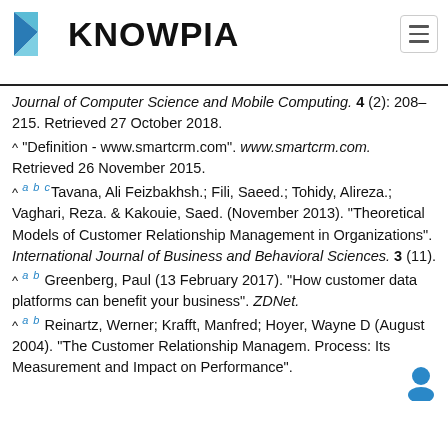KNOWPIA
Journal of Computer Science and Mobile Computing. 4 (2): 208–215. Retrieved 27 October 2018.
^ "Definition - www.smartcrm.com". www.smartcrm.com. Retrieved 26 November 2015.
^ a b c Tavana, Ali Feizbakhsh.; Fili, Saeed.; Tohidy, Alireza.; Vaghari, Reza. & Kakouie, Saed. (November 2013). "Theoretical Models of Customer Relationship Management in Organizations". International Journal of Business and Behavioral Sciences. 3 (11).
^ a b Greenberg, Paul (13 February 2017). "How customer data platforms can benefit your business". ZDNet.
^ a b Reinartz, Werner; Krafft, Manfred; Hoyer, Wayne D (August 2004). "The Customer Relationship Management Process: Its Measurement and Impact on Performance".